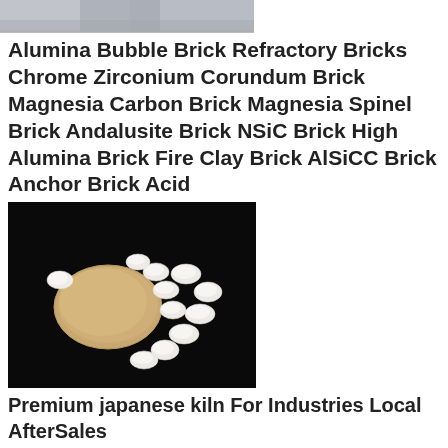[Figure (photo): Partial cropped image at top, gray/silver textured surface visible]
Alumina Bubble Brick Refractory Bricks Chrome Zirconium Corundum Brick Magnesia Carbon Brick Magnesia Spinel Brick Andalusite Brick NSiC Brick High Alumina Brick Fire Clay Brick AlSiCC Brick Anchor Brick Acid
[Figure (photo): Photo of alumina bubble bricks on black background: one large round flat disk and multiple smaller oval white ceramic pieces arranged in a pattern]
Premium japanese kiln For Industries Local AfterSales
JCY 1 cbm Shuttle Furnace Gas Kiln for Pottery And Ceramic for Workshop and School High Temperature Ceramic Kilns Oven Up to 5 years warranty Easy to operate 622620691800/ Set 1 Set